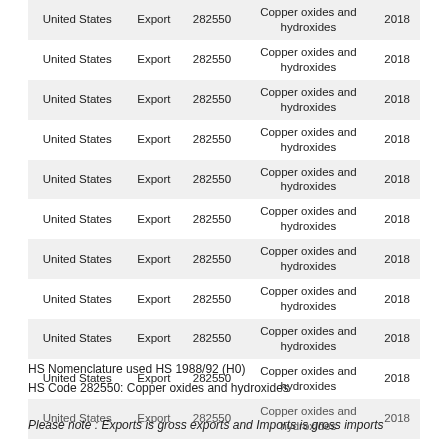| Country | Flow | HS Code | Description | Year |
| --- | --- | --- | --- | --- |
| United States | Export | 282550 | Copper oxides and hydroxides | 2018 |
| United States | Export | 282550 | Copper oxides and hydroxides | 2018 |
| United States | Export | 282550 | Copper oxides and hydroxides | 2018 |
| United States | Export | 282550 | Copper oxides and hydroxides | 2018 |
| United States | Export | 282550 | Copper oxides and hydroxides | 2018 |
| United States | Export | 282550 | Copper oxides and hydroxides | 2018 |
| United States | Export | 282550 | Copper oxides and hydroxides | 2018 |
| United States | Export | 282550 | Copper oxides and hydroxides | 2018 |
| United States | Export | 282550 | Copper oxides and hydroxides | 2018 |
| United States | Export | 282550 | Copper oxides and hydroxides | 2018 |
| United States | Export | 282550 | Copper oxides and hydroxides | 2018 |
HS Nomenclature used HS 1988/92 (H0)
HS Code 282550: Copper oxides and hydroxides
Please note : Exports is gross exports and Imports is gross imports